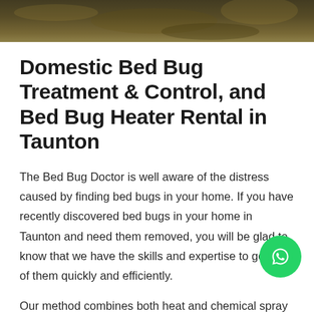[Figure (photo): Close-up photo of a bed bug on a surface, serving as hero banner image at top of page]
Domestic Bed Bug Treatment & Control, and Bed Bug Heater Rental in Taunton
The Bed Bug Doctor is well aware of the distress caused by finding bed bugs in your home. If you have recently discovered bed bugs in your home in Taunton and need them removed, you will be glad to know that we have the skills and expertise to get rid of them quickly and efficiently.
Our method combines both heat and chemical spray
[Figure (logo): WhatsApp button icon (green circle with phone/chat icon)]